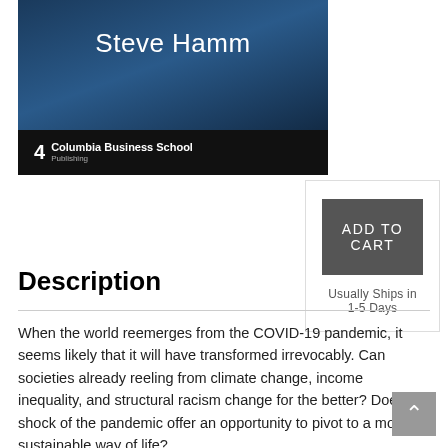[Figure (illustration): Book cover with dark blue/teal space-like background showing author name 'Steve Hamm' and Columbia Business School Publishing logo at bottom]
ADD TO CART
Usually Ships in 1-5 Days
Description
When the world reemerges from the COVID-19 pandemic, it seems likely that it will have transformed irrevocably. Can societies already reeling from climate change, income inequality, and structural racism change for the better? Does the shock of the pandemic offer an opportunity to pivot to a more sustainable way of life?
Early in the crisis, a global volunteer collaboration called Pivot